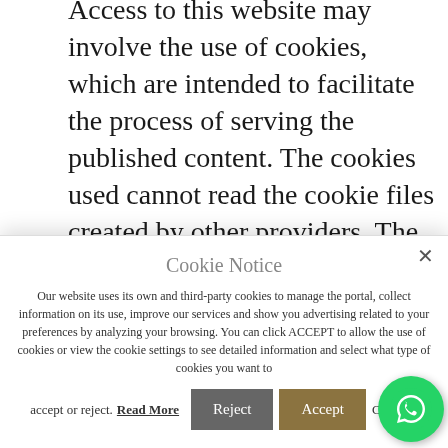Access to this website may involve the use of cookies, which are intended to facilitate the process of serving the published content. The cookies used cannot read the cookie files created by other providers. The user has the possibility to configure their browser to be notified on the screen of the reception of cookies and to prevent their installation on their hard drive. For this, the...
Cookie Notice

Our website uses its own and third-party cookies to manage the portal, collect information on its use, improve our services and show you advertising related to your preferences by analyzing your browsing. You can click ACCEPT to allow the use of cookies or view the cookie settings to see detailed information and select what type of cookies you want to accept or reject. Read More | Reject | Accept | Cookie settings